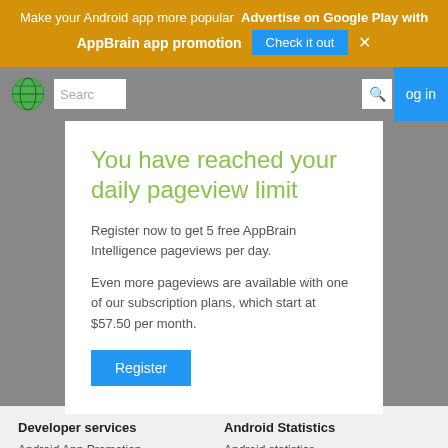Make your Android app more popular  Advertise on Google Play with AppBrain app promotion  Check it out  ×
You have reached your daily pageview limit
Register now to get 5 free AppBrain Intelligence pageviews per day.
Even more pageviews are available with one of our subscription plans, which start at $57.50 per month.
Register
Developer services
Android App Promotion
Monetize Your Android App
Android Statistics
Android statistics
Google Play Developer stats